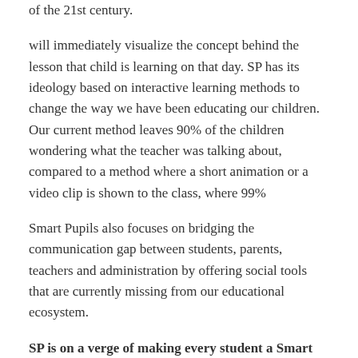of the 21st century.
will immediately visualize the concept behind the lesson that child is learning on that day. SP has its ideology based on interactive learning methods to change the way we have been educating our children. Our current method leaves 90% of the children wondering what the teacher was talking about, compared to a method where a short animation or a video clip is shown to the class, where 99%
Smart Pupils also focuses on bridging the communication gap between students, parents, teachers and administration by offering social tools that are currently missing from our educational ecosystem.
SP is on a verge of making every student a Smart Pupil.